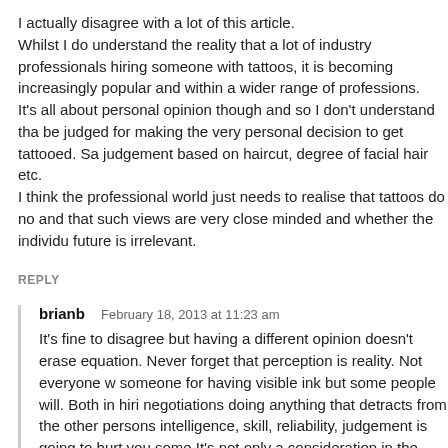I actually disagree with a lot of this article. Whilst I do understand the reality that a lot of industry professionals hiring someone with tattoos, it is becoming increasingly popular and within a wider range of professions. It's all about personal opinion though and so I don't understand that be judged for making the very personal decision to get tattooed. Sa judgement based on haircut, degree of facial hair etc. I think the professional world just needs to realise that tattoos do no and that such views are very close minded and whether the individu future is irrelevant.
REPLY
brianb  February 18, 2013 at 11:23 am
It's fine to disagree but having a different opinion doesn't erase equation. Never forget that perception is reality. Not everyone w someone for having visible ink but some people will. Both in hiri negotiations doing anything that detracts from the other persons intelligence, skill, reliability, judgement is going to hurt you some It's not only a consideration in the work place, it's a factor in ro